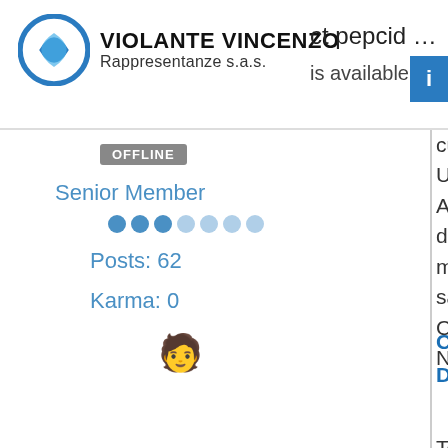VIOLANTE VINCENZO ct pepcid … Rappresentanze s.a.s. is available for customers only and is fu USPS.
OFFLINE
Senior Member
Posts: 62
Karma: 0
is available for customers only and is fu USPS. A generic drug simply mean drug is not made by the orig manufacturer, the chemical same. Complete the order form ar Next button.
CLICK HERE To Order pepc Doctor Prescription Online
Top Quality Medications!